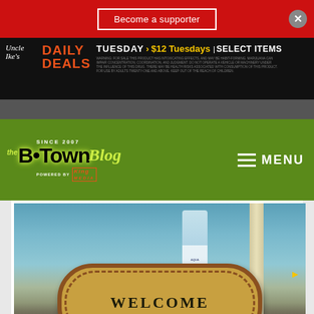Become a supporter
[Figure (screenshot): Uncle Ike's Daily Deals advertisement banner: TUESDAY > $12 Tuesdays | SELECT ITEMS with disclaimer text]
[Figure (logo): The B·Town Blog - Since 2007 - Powered by King Media logo on green background with MENU hamburger navigation]
[Figure (photo): A welcome doormat with the word WELCOME and a jug of drinking water sitting on it, outside a Cabana Royal Apartment Homes resident's unit]
A jug of drinking water sits on a doormat outside a Cabana Royal Apartment Homes resident’s unit Sunday afternoon at the complex in Burien.
English